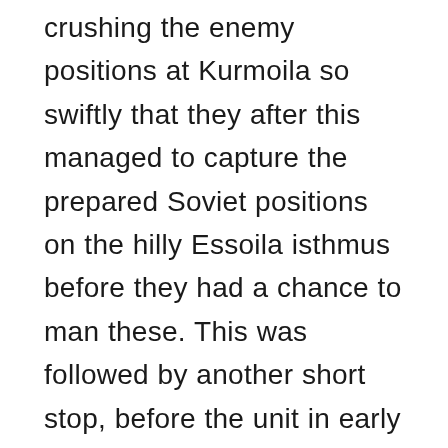crushing the enemy positions at Kurmoila so swiftly that they after this managed to capture the prepared Soviet positions on the hilly Essoila isthmus before they had a chance to man these. This was followed by another short stop, before the unit in early September marched through the forests and swamps around Teru, charged into the position protecting the enemy's southern flank, broke these, and continued with speed to capture another strategic bridge over Suojujoki before the enemy managed to blow it. He again personally led the first two platoons to cross over. In the end, the successful campaign of JR 50 played a key